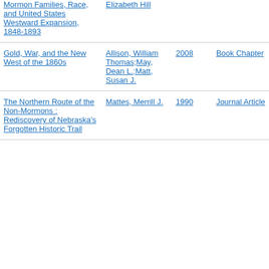| Title | Author | Year | Type |
| --- | --- | --- | --- |
| Mormon Families, Race, and United States Westward Expansion, 1848-1893 | Elizabeth Hill |  |  |
| Gold, War, and the New West of the 1860s | Allison, William Thomas;May, Dean L.;Matt, Susan J. | 2008 | Book Chapter |
| The Northern Route of the Non-Mormons : Rediscovery of Nebraska's Forgotten Historic Trail | Mattes, Merrill J. | 1990 | Journal Article |